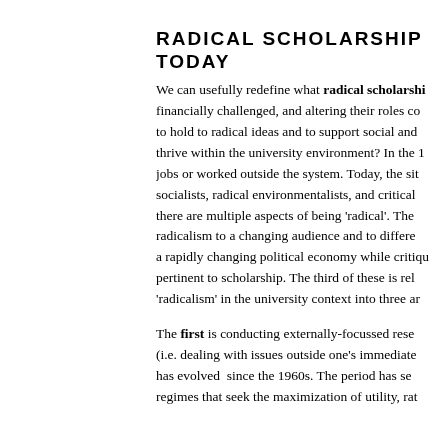RADICAL SCHOLARSHIP TODAY
We can usefully redefine what radical scholarship means in an era when universities are financially challenged, and altering their roles considerably. What does it mean to hold to radical ideas and to support social and economic change, and to thrive within the university environment? In the 1960s, many radicals lost jobs or worked outside the system. Today, the situation is different: socialists, radical environmentalists, and critical scholars recognise that there are multiple aspects of being 'radical'. These include: presenting radicalism to a changing audience and to different contexts; responding to a rapidly changing political economy while critiquing it; and issues pertinent to scholarship. The third of these is related to re-defining 'radicalism' in the university context into three areas.
The first is conducting externally-focussed research and activism (i.e. dealing with issues outside one's immediate academic context). This has evolved since the 1960s. The period has seen neoliberal regimes that seek the maximization of utility, rath...